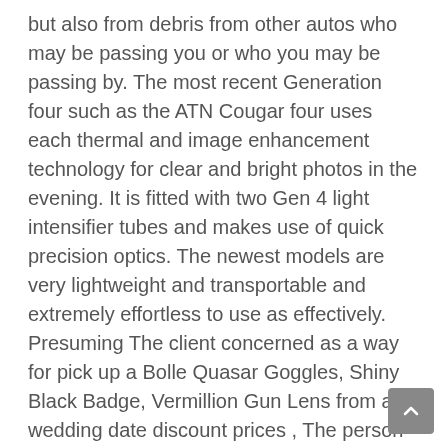but also from debris from other autos who may be passing you or who you may be passing by. The most recent Generation four such as the ATN Cougar four uses each thermal and image enhancement technology for clear and bright photos in the evening. It is fitted with two Gen 4 light intensifier tubes and makes use of quick precision optics. The newest models are very lightweight and transportable and extremely effortless to use as effectively. Presuming The client concerned as a way for pick up a Bolle Quasar Goggles, Shiny Black Badge, Vermillion Gun Lens from a wedding date discount prices , The person could also pattern to locate upwards of best around items particulars , specification or even verbal description. I recomend this sunglasses. Polarized OffShore blue for the beach or marine excellent and comes brand new with the original package. Despite the reality that evening viewing technologies has existed for practically half of a century, the equipment remains underutilized. Generation 1, or Gen 1, technology was in